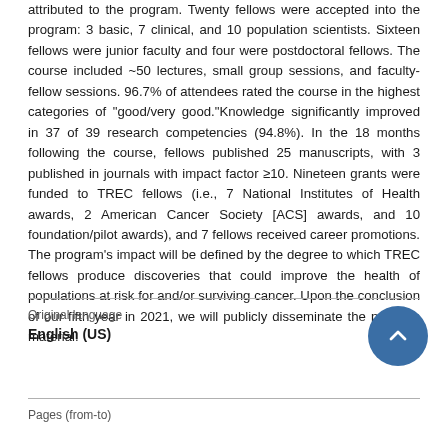attributed to the program. Twenty fellows were accepted into the program: 3 basic, 7 clinical, and 10 population scientists. Sixteen fellows were junior faculty and four were postdoctoral fellows. The course included ~50 lectures, small group sessions, and faculty-fellow sessions. 96.7% of attendees rated the course in the highest categories of "good/very good."Knowledge significantly improved in 37 of 39 research competencies (94.8%). In the 18 months following the course, fellows published 25 manuscripts, with 3 published in journals with impact factor ≥10. Nineteen grants were funded to TREC fellows (i.e., 7 National Institutes of Health awards, 2 American Cancer Society [ACS] awards, and 10 foundation/pilot awards), and 7 fellows received career promotions. The program's impact will be defined by the degree to which TREC fellows produce discoveries that could improve the health of populations at risk for and/or surviving cancer. Upon the conclusion of our fifth year in 2021, we will publicly disseminate the program material.
| Original language |  |
| --- | --- |
| English (US) |  |
| Pages (from-to) |  |